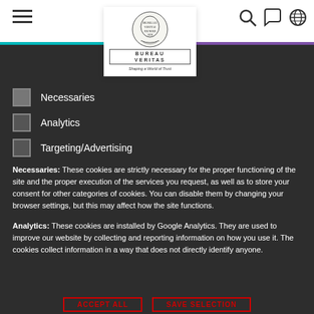Bureau Veritas – Shaping a World of Trust
Necessaries
Analytics
Targeting/Advertising
Necessaries: These cookies are strictly necessary for the proper functioning of the site and the proper execution of the services you request, as well as to store your consent for other categories of cookies. You can disable them by changing your browser settings, but this may affect how the site functions.
Analytics: These cookies are installed by Google Analytics. They are used to improve our website by collecting and reporting information on how you use it. The cookies collect information in a way that does not directly identify anyone.